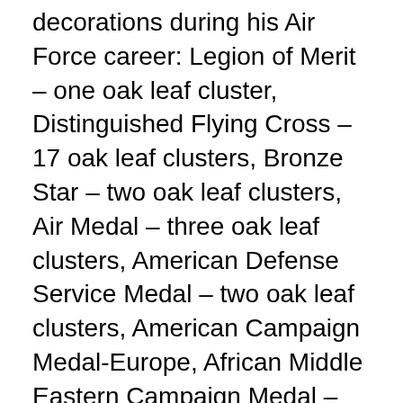decorations during his Air Force career: Legion of Merit – one oak leaf cluster, Distinguished Flying Cross – 17 oak leaf clusters, Bronze Star – two oak leaf clusters, Air Medal – three oak leaf clusters, American Defense Service Medal – two oak leaf clusters, American Campaign Medal-Europe, African Middle Eastern Campaign Medal – five oak leaf clusters, World War II Victory Medal, Army Occupation Medal, National Defense Service Medal, Korean Service Medal, United Nations Service Medal, Command Pilot Wings and the National Security Council badge.
After he retired from the Air Force, Northrop Aircraft hired him as the director of the Scandinavian Division where he worked for ten years in Oslo, Norway. While in Oslo he was also the President of the American Lutheran Church Council and consulted for the American Businessman's